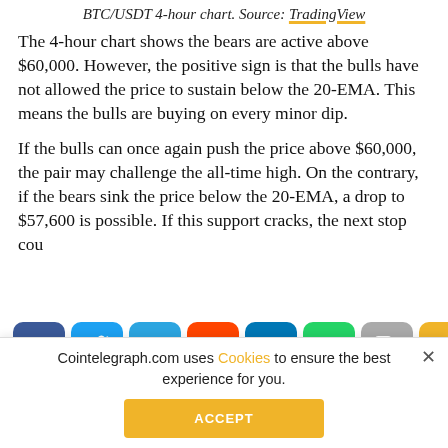BTC/USDT 4-hour chart. Source: TradingView
The 4-hour chart shows the bears are active above $60,000. However, the positive sign is that the bulls have not allowed the price to sustain below the 20-EMA. This means the bulls are buying on every minor dip.
If the bulls can once again push the price above $60,000, the pair may challenge the all-time high. On the contrary, if the bears sink the price below the 20-EMA, a drop to $57,600 is possible. If this support cracks, the next stop cou…
[Figure (infographic): Social share bar with buttons: Facebook, Twitter, Telegram, Reddit, LinkedIn, WhatsApp, Copy, Scroll-to-top]
XLM/USDT
Stellar Lumens (XLM) broke above the $0.60 resistance today and rose to a… at $0.65. Whenever an asset hits a new 52-week high, it is a sign
Cointelegraph.com uses Cookies to ensure the best experience for you.